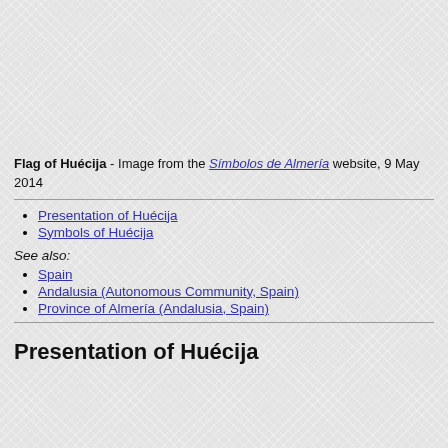[Figure (other): Top image area - flag image placeholder (textured background)]
Flag of Huécija - Image from the Símbolos de Almería website, 9 May 2014
Presentation of Huécija
Symbols of Huécija
See also:
Spain
Andalusia (Autonomous Community, Spain)
Province of Almería (Andalusia, Spain)
Presentation of Huécija